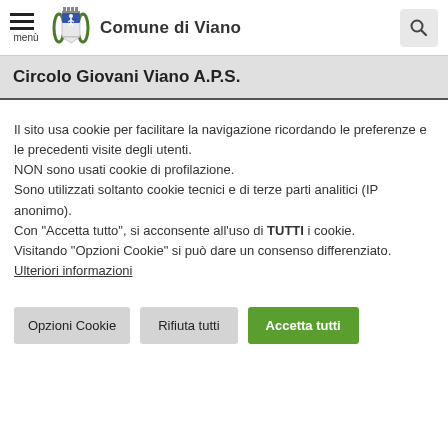Comune di Viano
Circolo Giovani Viano A.P.S.
Il sito usa cookie per facilitare la navigazione ricordando le preferenze e le precedenti visite degli utenti.
NON sono usati cookie di profilazione.
Sono utilizzati soltanto cookie tecnici e di terze parti analitici (IP anonimo).
Con "Accetta tutto", si acconsente all'uso di TUTTI i cookie.
Visitando "Opzioni Cookie" si può dare un consenso differenziato.
Ulteriori informazioni